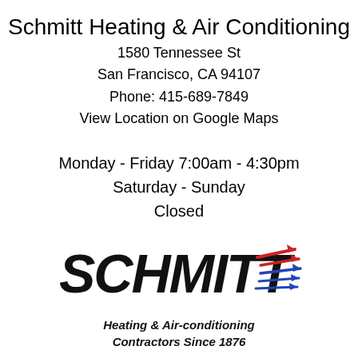Schmitt Heating & Air Conditioning
1580 Tennessee St
San Francisco, CA 94107
Phone: 415-689-7849
View Location on Google Maps
Monday - Friday 7:00am - 4:30pm
Saturday - Sunday
Closed
[Figure (logo): Schmitt Heating & Air-conditioning logo with stylized italic SCHMITT text in black, red and blue arrow swoosh marks to the right, and tagline 'Heating & Air-conditioning Contractors Since 1876' in italic bold below]